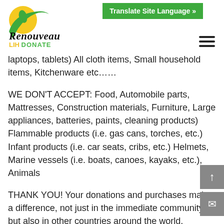[Figure (logo): Renouveau LIH DONATE logo with green circular emblem and leaf]
Translate Site Language »
laptops, tablets) All cloth items, Small household items, Kitchenware etc……
WE DON'T ACCEPT: Food, Automobile parts, Mattresses, Construction materials, Furniture, Large appliances, batteries, paints, cleaning products) Flammable products (i.e. gas cans, torches, etc.) Infant products (i.e. car seats, cribs, etc.) Helmets, Marine vessels (i.e. boats, canoes, kayaks, etc.), Animals
THANK YOU! Your donations and purchases make a difference, not just in the immediate community, but also in other countries around the world.
Volunteer Your Time: If you have some time to spare,